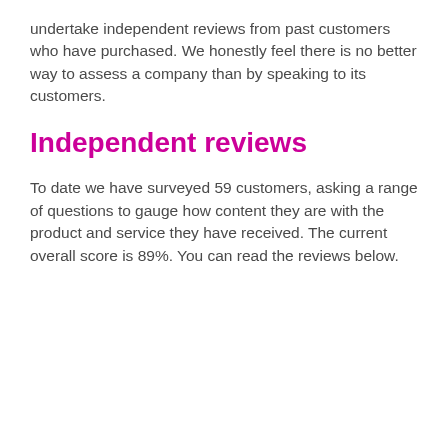undertake independent reviews from past customers who have purchased. We honestly feel there is no better way to assess a company than by speaking to its customers.
Independent reviews
To date we have surveyed 59 customers, asking a range of questions to gauge how content they are with the product and service they have received. The current overall score is 89%. You can read the reviews below.